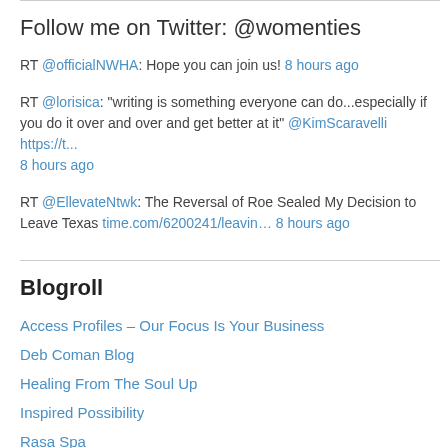Follow me on Twitter: @womenties
RT @officialNWHA: Hope you can join us! 8 hours ago
RT @lorisica: "writing is something everyone can do...especially if you do it over and over and get better at it" @KimScaravelli https://t... 8 hours ago
RT @EllevateNtwk: The Reversal of Roe Sealed My Decision to Leave Texas time.com/6200241/leavin… 8 hours ago
Blogroll
Access Profiles – Our Focus Is Your Business
Deb Coman Blog
Healing From The Soul Up
Inspired Possibility
Rasa Spa